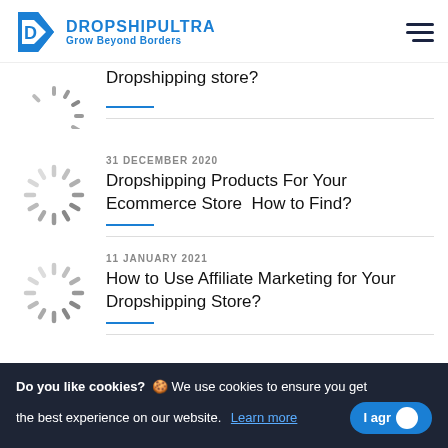[Figure (logo): DropshipUltra logo with blue D icon and text 'DROPSHIPULTRA Grow Beyond Borders']
Dropshipping store?
31 DECEMBER 2020
Dropshipping Products For Your Ecommerce Store  How to Find?
11 JANUARY 2021
How to Use Affiliate Marketing for Your Dropshipping Store?
Do you like cookies? 🍪 We use cookies to ensure you get the best experience on our website. Learn more  I agree